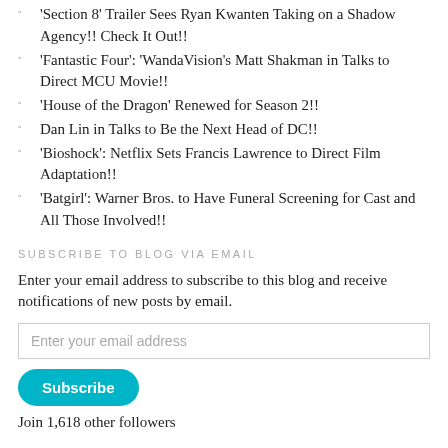'Section 8' Trailer Sees Ryan Kwanten Taking on a Shadow Agency!! Check It Out!!
'Fantastic Four': 'WandaVision's Matt Shakman in Talks to Direct MCU Movie!!
'House of the Dragon' Renewed for Season 2!!
Dan Lin in Talks to Be the Next Head of DC!!
'Bioshock': Netflix Sets Francis Lawrence to Direct Film Adaptation!!
'Batgirl': Warner Bros. to Have Funeral Screening for Cast and All Those Involved!!
SUBSCRIBE TO BLOG VIA EMAIL
Enter your email address to subscribe to this blog and receive notifications of new posts by email.
Join 1,618 other followers